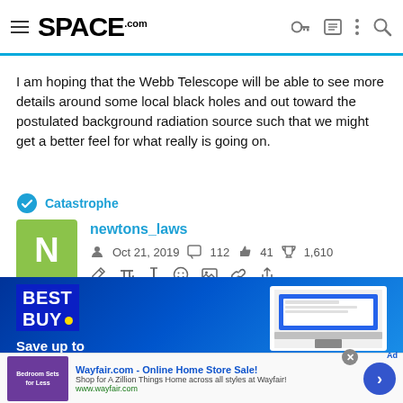SPACE.com
I am hoping that the Webb Telescope will be able to see more details around some local black holes and out toward the postulated background radiation source such that we might get a better feel for what really is going on.
Catastrophe
newtons_laws  Oct 21, 2019  112  41  1,610
[Figure (screenshot): Best Buy advertisement banner with blue gradient background showing 'BEST BUY' logo and 'Save up to' text with laptop/monitor screen image]
[Figure (screenshot): Wayfair.com online advertisement - 'Wayfair.com - Online Home Store Sale! Shop for A Zillion Things Home across all styles at Wayfair! www.wayfair.com' with purple bedroom furniture image and blue arrow button]